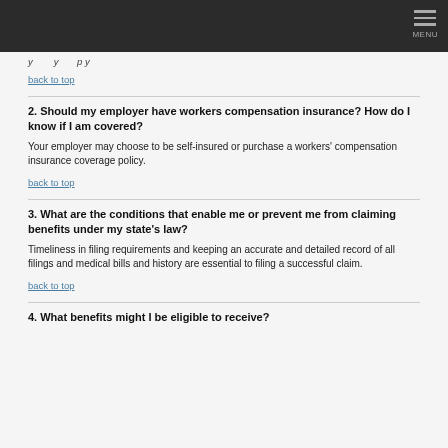MENU
y ... y p y
back to top
2. Should my employer have workers compensation insurance? How do I know if I am covered?
Your employer may choose to be self-insured or purchase a workers' compensation insurance coverage policy.
back to top
3. What are the conditions that enable me or prevent me from claiming benefits under my state's law?
Timeliness in filing requirements and keeping an accurate and detailed record of all filings and medical bills and history are essential to filing a successful claim.
back to top
4. What benefits might I be eligible to receive?